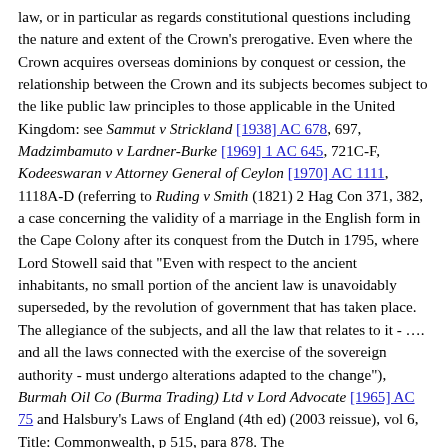law, or in particular as regards constitutional questions including the nature and extent of the Crown's prerogative. Even where the Crown acquires overseas dominions by conquest or cession, the relationship between the Crown and its subjects becomes subject to the like public law principles to those applicable in the United Kingdom: see Sammut v Strickland [1938] AC 678, 697, Madzimbamuto v Lardner-Burke [1969] 1 AC 645, 721C-F, Kodeeswaran v Attorney General of Ceylon [1970] AC 1111, 1118A-D (referring to Ruding v Smith (1821) 2 Hag Con 371, 382, a case concerning the validity of a marriage in the English form in the Cape Colony after its conquest from the Dutch in 1795, where Lord Stowell said that "Even with respect to the ancient inhabitants, no small portion of the ancient law is unavoidably superseded, by the revolution of government that has taken place. The allegiance of the subjects, and all the law that relates to it - …. and all the laws connected with the exercise of the sovereign authority - must undergo alterations adapted to the change"), Burmah Oil Co (Burma Trading) Ltd v Lord Advocate [1965] AC 75 and Halsbury's Laws of England (4th ed) (2003 reissue), vol 6, Title: Commonwealth, p 515, para 878. The